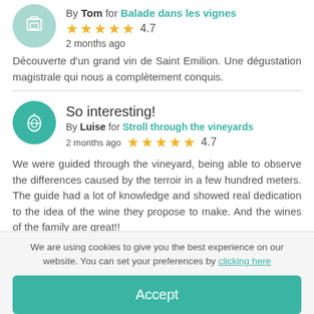By Tom for Balade dans les vignes
2 months ago ★★★★½ 4.7
Découverte d'un grand vin de Saint Emilion. Une dégustation magistrale qui nous a complètement conquis.
So interesting!
By Luise for Stroll through the vineyards
2 months ago ★★★★½ 4.7
We were guided through the vineyard, being able to observe the differences caused by the terroir in a few hundred meters. The guide had a lot of knowledge and showed real dedication to the idea of the wine they propose to make. And the wines of the family are great!!
We are using cookies to give you the best experience on our website. You can set your preferences by clicking here
Accept